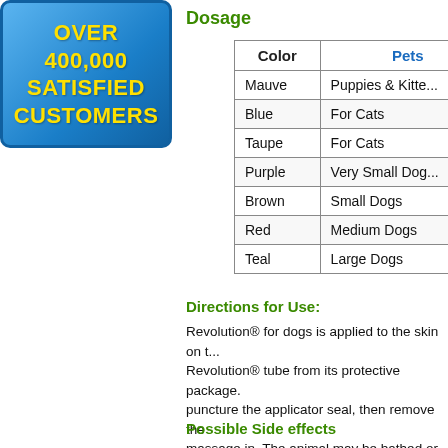[Figure (illustration): Blue rounded rectangle badge with yellow bold text reading 'OVER 400,000 SATISFIED CUSTOMERS']
Dosage
| Color | Pets |
| --- | --- |
| Mauve | Puppies & Kitte... |
| Blue | For Cats |
| Taupe | For Cats |
| Purple | Very Small Dog... |
| Brown | Small Dogs |
| Red | Medium Dogs |
| Teal | Large Dogs |
Directions for Use:
Revolution® for dogs is applied to the skin on t... Revolution® tube from its protective package. puncture the applicator seal, then remove the massage in. The animal may be bathed or allo... Spot on applicators are portioned based on the lbs; dogs between 5.1-10 lbs, 10.1-20 lbs, 20.1...
Possible Side effects